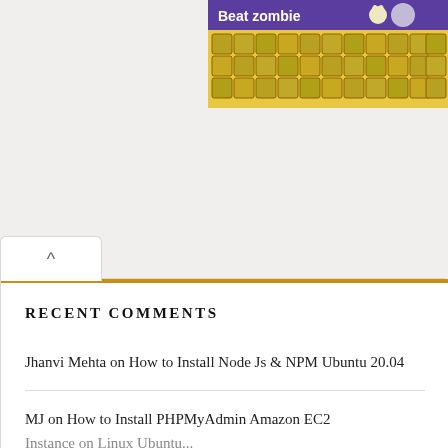[Figure (screenshot): Partial advertisement banner showing zombie game with yellow background, purple header bar saying 'Beat zombies', and a grid of cartoon zombie character icons]
RECENT COMMENTS
Jhanvi Mehta on How to Install Node Js & NPM Ubuntu 20.04
MJ on How to Install PHPMyAdmin Amazon EC2 Instance on Linux Ubuntu...